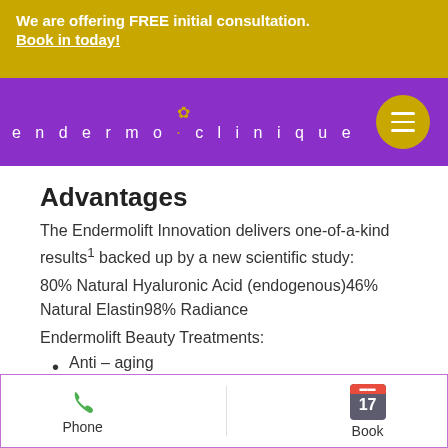We are offering FREE initial consultation. Book in today!
[Figure (logo): Endermo Clinique logo with purple navigation bar and gold hamburger menu button]
Advantages
The Endermolift Innovation delivers one-of-a-kind results¹ backed up by a new scientific study:
80% Natural Hyaluronic Acid (endogenous)46% Natural Elastin98% Radiance
Endermolift Beauty Treatments:
Anti – aging
Wrinkles, puffiness
Phone   Book